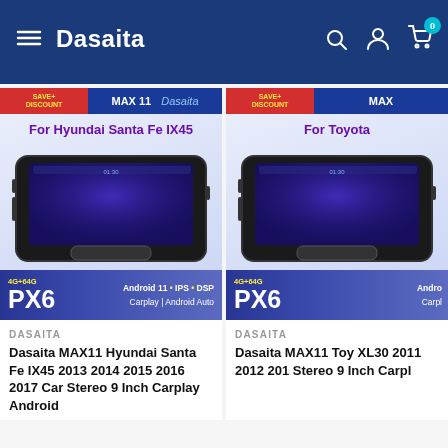[Figure (screenshot): Dasaita e-commerce website header with dark blue background, hamburger menu, Dasaita logo, search icon, user icon, and cart icon with badge showing 0]
[Figure (photo): Product listing for Dasaita MAX11 Hyundai Santa Fe IX45 car stereo showing device image, PX6 spec strip, and product details]
DASAITA
Dasaita MAX11 Hyundai Santa Fe IX45 2013 2014 2015 2016 2017 Car Stereo 9 Inch Carplay Android
[Figure (photo): Product listing for Dasaita MAX11 Toyota XL30 car stereo showing device image, PX6 spec strip, and product details]
DASAITA
Dasaita MAX11 Toyota XL30 2011 2012 201 Stereo 9 Inch Carpl